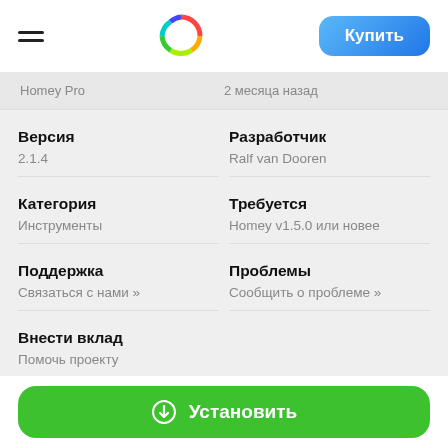☰ [Rainbow logo] Купить
Homey Pro    2 месяца назад
Версия
2.1.4
Разработчик
Ralf van Dooren
Категория
Инструменты
Требуется
Homey v1.5.0 или новее
Поддержка
Связаться с нами »
Проблемы
Сообщить о проблеме »
Внести вклад
Помочь проекту
Установить